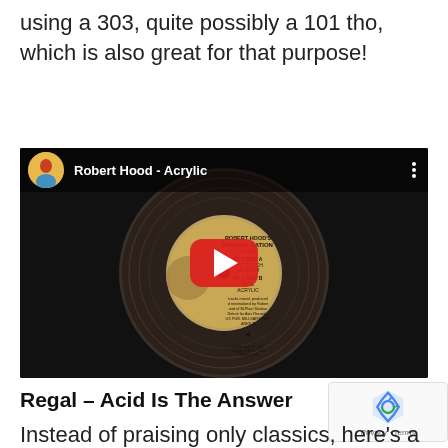using a 303, quite possibly a 101 tho, which is also great for that purpose!
[Figure (screenshot): YouTube video thumbnail for 'Robert Hood - Acrylic' showing a vinyl record label for Robert Hood's Minimal Nation on Axis Records, with a red YouTube play button overlay and the video title in the top bar.]
Regal – Acid Is The Answer
Instead of praising only classics, here's a very